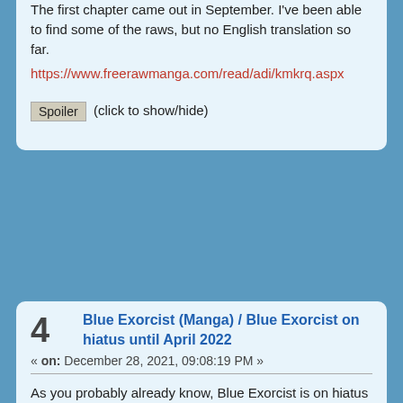The first chapter came out in September. I've been able to find some of the raws, but no English translation so far.
https://www.freerawmanga.com/read/adi/kmkrq.aspx
Spoiler (click to show/hide)
4  Blue Exorcist (Manga) / Blue Exorcist on hiatus until April 2022
« on: December 28, 2021, 09:08:19 PM »
As you probably already know, Blue Exorcist is on hiatus right now. Kazue Kato isn't ill (thankfully), she just took a 6-month break to write a mini-series adaptation of a horror story.
https://www.animenewsnetwork.com/news/2021-07-02/blue-exorcist-manga-goes-on-hiatus-until-april-as-kazue-kato-draws-manga-of-twelve-kingdoms-author-/.174705
Blue Exorcist should be back in April (the May issue).